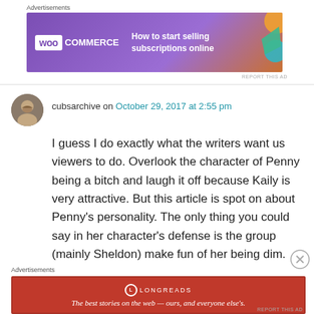Advertisements
[Figure (screenshot): WooCommerce advertisement banner: purple background with WooCommerce logo and text 'How to start selling subscriptions online']
REPORT THIS AD
cubsarchive on October 29, 2017 at 2:55 pm
I guess I do exactly what the writers want us viewers to do. Overlook the character of Penny being a bitch and laugh it off because Kaily is very attractive. But this article is spot on about Penny's personality. The only thing you could say in her character's defense is the group (mainly Sheldon) make fun of her being dim.
Advertisements
[Figure (screenshot): Longreads advertisement banner: dark red background with Longreads logo and text 'The best stories on the web — ours, and everyone else's.']